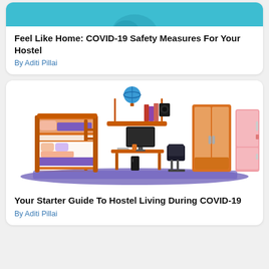[Figure (photo): Top portion of a card showing a partial image with teal/cyan background, cropped at the top of the page]
Feel Like Home: COVID-19 Safety Measures For Your Hostel
By Aditi Pillai
[Figure (illustration): Cartoon illustration of hostel room furniture including bunk bed, wardrobe, desk with computer, chair, and refrigerator on a purple floor mat]
Your Starter Guide To Hostel Living During COVID-19
By Aditi Pillai